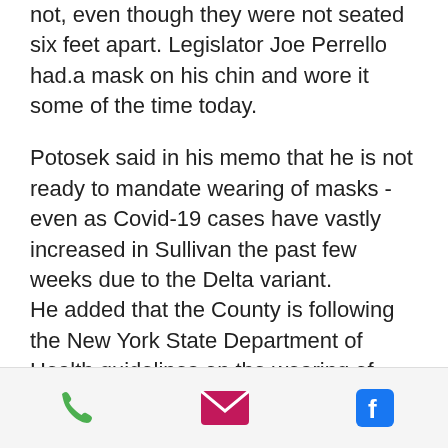not, even though they were not seated six feet apart. Legislator Joe Perrello had.a mask on his chin and wore it some of the time today.
Potosek said in his memo that he is not ready to mandate wearing of masks - even as Covid-19 cases have vastly increased in Sullivan the past few weeks due to the Delta variant. He added that the County is following the New York State Department of Health guidelines on the wearing of masks which "supercede the CDC" guidance.
"What's also smart and scientifically ...
[Figure (infographic): Bottom navigation bar with phone icon (green), email/envelope icon (magenta/pink), and Facebook icon (blue)]